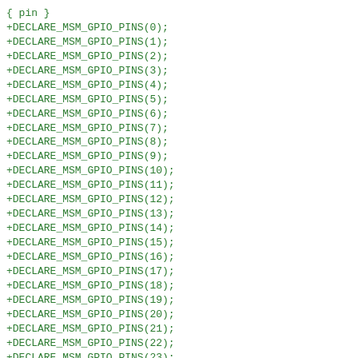{ pin }
+DECLARE_MSM_GPIO_PINS(0);
+DECLARE_MSM_GPIO_PINS(1);
+DECLARE_MSM_GPIO_PINS(2);
+DECLARE_MSM_GPIO_PINS(3);
+DECLARE_MSM_GPIO_PINS(4);
+DECLARE_MSM_GPIO_PINS(5);
+DECLARE_MSM_GPIO_PINS(6);
+DECLARE_MSM_GPIO_PINS(7);
+DECLARE_MSM_GPIO_PINS(8);
+DECLARE_MSM_GPIO_PINS(9);
+DECLARE_MSM_GPIO_PINS(10);
+DECLARE_MSM_GPIO_PINS(11);
+DECLARE_MSM_GPIO_PINS(12);
+DECLARE_MSM_GPIO_PINS(13);
+DECLARE_MSM_GPIO_PINS(14);
+DECLARE_MSM_GPIO_PINS(15);
+DECLARE_MSM_GPIO_PINS(16);
+DECLARE_MSM_GPIO_PINS(17);
+DECLARE_MSM_GPIO_PINS(18);
+DECLARE_MSM_GPIO_PINS(19);
+DECLARE_MSM_GPIO_PINS(20);
+DECLARE_MSM_GPIO_PINS(21);
+DECLARE_MSM_GPIO_PINS(22);
+DECLARE_MSM_GPIO_PINS(23);
+DECLARE_MSM_GPIO_PINS(24);
+DECLARE_MSM_GPIO_PINS(25);
+DECLARE_MSM_GPIO_PINS(26);
+DECLARE_MSM_GPIO_PINS(27);
+DECLARE_MSM_GPIO_PINS(28);